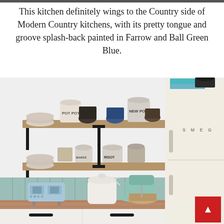This kitchen definitely wings to the Country side of Modern Country kitchens, with its pretty tongue and groove splash-back painted in Farrow and Ball Green Blue.
[Figure (photo): A country-style kitchen featuring open wooden shelves with ceramic bowls, pots and dishware, a blue SMEG toaster, a mint green KitchenAid stand mixer, a white ceramic jar, wooden countertop, white cabinets with black handles, a sage green tongue and groove splash-back, and a cream SMEG retro refrigerator on the right.]